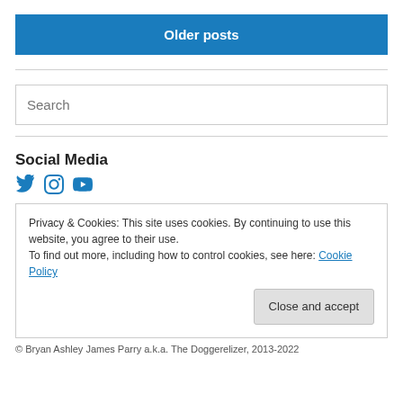Older posts
Search
Social Media
[Figure (other): Social media icons: Twitter bird, Instagram camera, YouTube play button]
Privacy & Cookies: This site uses cookies. By continuing to use this website, you agree to their use.
To find out more, including how to control cookies, see here: Cookie Policy
Close and accept
© Bryan Ashley James Parry a.k.a. The Doggerelizer, 2013-2022